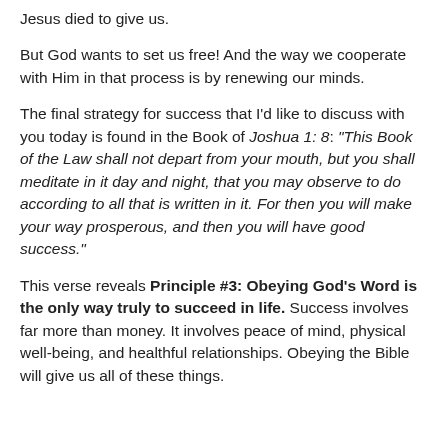Jesus died to give us.
But God wants to set us free! And the way we cooperate with Him in that process is by renewing our minds.
The final strategy for success that I'd like to discuss with you today is found in the Book of Joshua 1: 8: “This Book of the Law shall not depart from your mouth, but you shall meditate in it day and night, that you may observe to do according to all that is written in it. For then you will make your way prosperous, and then you will have good success.”
This verse reveals Principle #3: Obeying God’s Word is the only way truly to succeed in life. Success involves far more than money. It involves peace of mind, physical well-being, and healthful relationships. Obeying the Bible will give us all of these things.